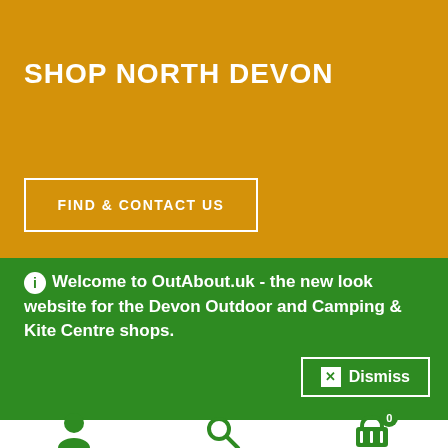SHOP NORTH DEVON
FIND & CONTACT US
Welcome to OutAbout.uk - the new look website for the Devon Outdoor and Camping & Kite Centre shops.
Dismiss